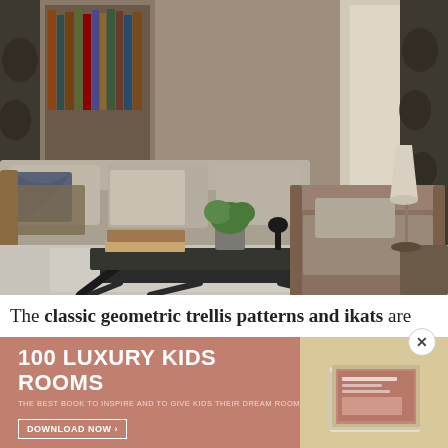[Figure (photo): Interior living room scene with a gray sofa with decorative pillows, a large dark metal X-frame coffee table with books and a plant on it, a brown armchair, patterned curtains, bookshelf in background, and a table lamp. The room has a light-colored woven rug.]
The classic geometric trellis patterns and ikats are
[Figure (infographic): Advertisement banner with dusty rose/mauve background on left side and a cream/tan background on the right with a stack of books. Text reads '100 LUXURY KIDS ROOMS', subtitle 'THE BEST BOOK TO INSPIRE AND TO GIVE KIDS THEIR DREAM ROOM', and a button 'DOWNLOAD NOW >']